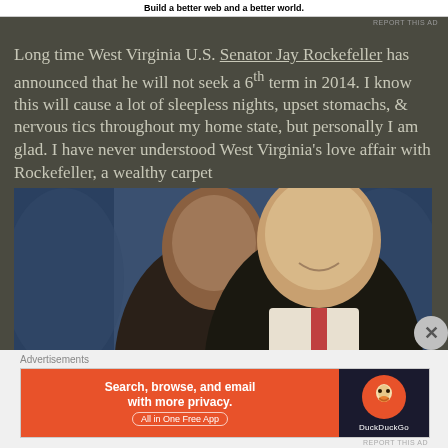Build a better web and a better world.
REPORT THIS AD
Long time West Virginia U.S. Senator Jay Rockefeller has announced that he will not seek a 6th term in 2014. I know this will cause a lot of sleepless nights, upset stomachs, & nervous tics throughout my home state, but personally I am glad. I have never understood West Virginia's love affair with Rockefeller, a wealthy carpet
[Figure (photo): Photo of two men smiling together, one younger man on the left and one older man on the right, in front of a blue draped background.]
Advertisements
[Figure (screenshot): DuckDuckGo advertisement: Search, browse, and email with more privacy. All in One Free App. Orange and dark background with DuckDuckGo logo.]